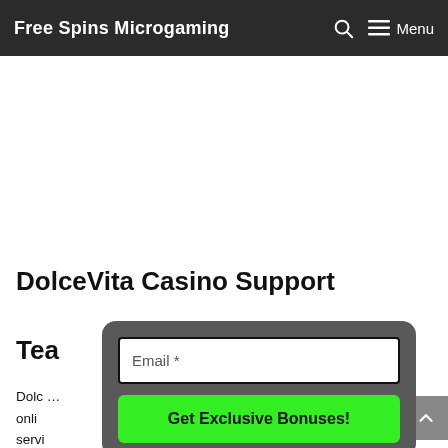Free Spins Microgaming
DolceVita Casino Support Tea…
Dolc… um online… servi… prem… ded
[Figure (screenshot): Email signup popup with text input labeled 'Email *' and a bright green button labeled 'Get Exclusive Bonuses!']